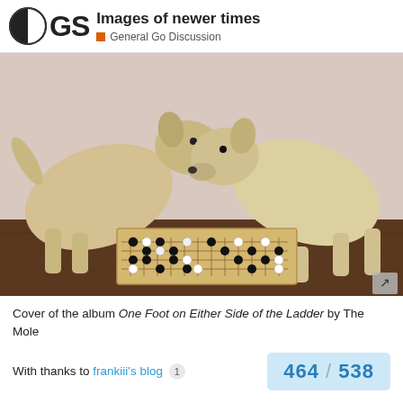Images of newer times — General Go Discussion
[Figure (photo): Two light-colored dogs facing each other over a Go board (goban) with black and white stones placed on it, on a wooden floor against a light wall background. Expand icon in bottom-right corner.]
Cover of the album One Foot on Either Side of the Ladder by The Mole
With thanks to frankiii's blog  1
464 / 538